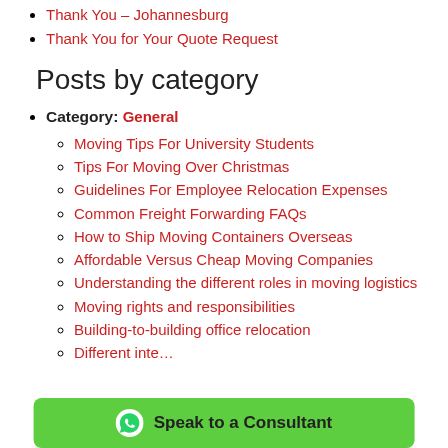Thank You – Johannesburg
Thank You for Your Quote Request
Posts by category
Category: General
Moving Tips For University Students
Tips For Moving Over Christmas
Guidelines For Employee Relocation Expenses
Common Freight Forwarding FAQs
How to Ship Moving Containers Overseas
Affordable Versus Cheap Moving Companies
Understanding the different roles in moving logistics
Moving rights and responsibilities
Building-to-building office relocation
Different inte…
[Figure (other): WhatsApp chat button overlay reading 'Speak to a Consultant' with WhatsApp icon on green background]